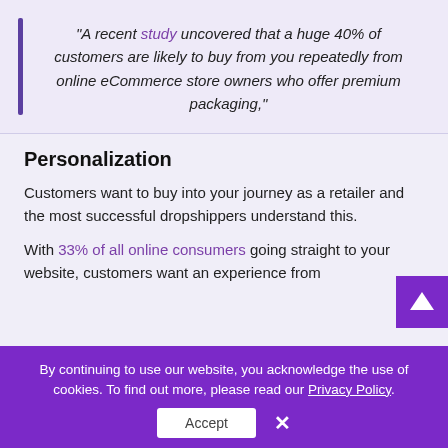"A recent study uncovered that a huge 40% of customers are likely to buy from you repeatedly from online eCommerce store owners who offer premium packaging,"
Personalization
Customers want to buy into your journey as a retailer and the most successful dropshippers understand this.
With 33% of all online consumers going straight to your website, customers want an experience from
By continuing to use our website, you acknowledge the use of cookies. To find out more, please read our Privacy Policy.
Accept
×